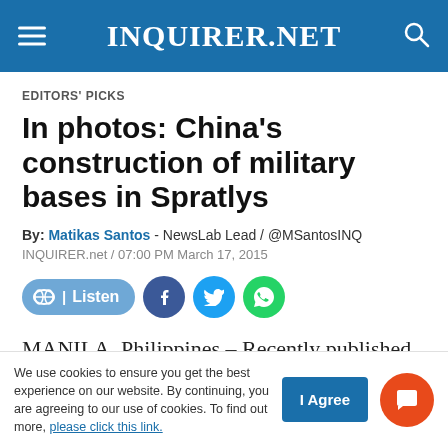INQUIRER.NET
EDITORS' PICKS
In photos: China's construction of military bases in Spratlys
By: Matikas Santos - NewsLab Lead / @MSantosINQ
INQUIRER.net / 07:00 PM March 17, 2015
MANILA, Philippines – Recently published satellite images of China's land reclamation in the
We use cookies to ensure you get the best experience on our website. By continuing, you are agreeing to our use of cookies. To find out more, please click this link.